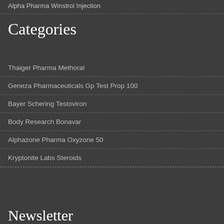Alpha Pharma Winstrol Injection
Categories
Thaiger Pharma Methoral
Geneza Pharmaceuticals Gp Test Prop 100
Bayer Schering Testoviron
Body Research Bonavar
Alphazone Pharma Oxyzone 50
Kryptonite Labs Steroids
Newsletter